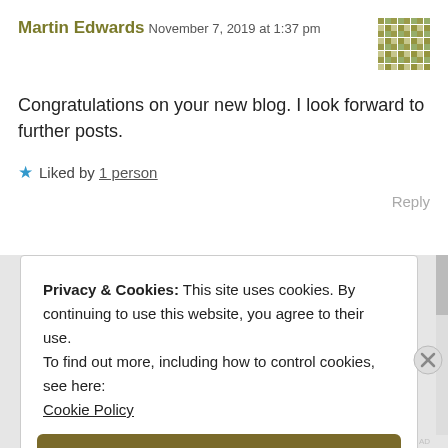Martin Edwards
November 7, 2019 at 1:37 pm
Congratulations on your new blog. I look forward to further posts.
★ Liked by 1 person
Reply
Privacy & Cookies: This site uses cookies. By continuing to use this website, you agree to their use.
To find out more, including how to control cookies, see here: Cookie Policy
Close and accept